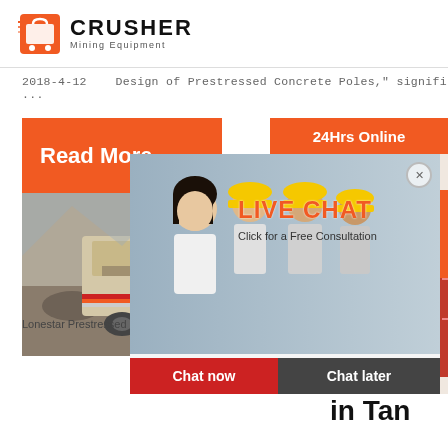[Figure (logo): Crusher Mining Equipment logo with red shopping bag icon and bold black CRUSHER text]
2018-4-12   Design of Prestressed Concrete Poles," signifi ...
[Figure (screenshot): Red-orange Read More button, crusher machine photo, live chat popup with workers, 24Hrs Online bar, sidebar with Chat Now and Enquiry buttons]
Lonestar Prestressed Concrete Poles are safe fa